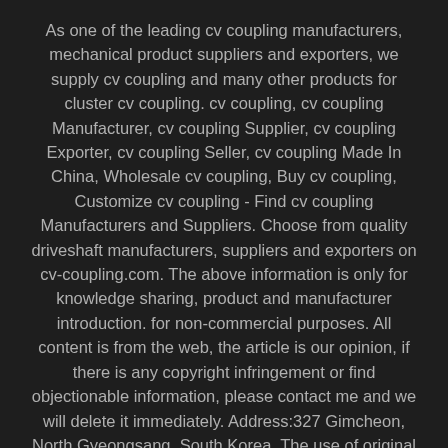As one of the leading cv coupling manufacturers, mechanical product suppliers and exporters, we supply cv coupling and many other products for cluster cv coupling. cv coupling, cv coupling Manufacturer, cv coupling Supplier, cv coupling Exporter, cv coupling Seller, cv coupling Made In China, Wholesale cv coupling, Buy cv coupling, Customize cv coupling - Find cv coupling Manufacturers and Suppliers. Choose from quality driveshaft manufacturers, suppliers and exporters on cv-coupling.com. The above information is only for knowledge sharing, product and manufacturer introduction. for non-commercial purposes. All content is from the web, the article is our opinion, if there is any copyright infringement or find objectionable information, please contact me and we will delete it immediately. Address:327 Gimcheon, North Gyeongsang, South Korea. The use of original